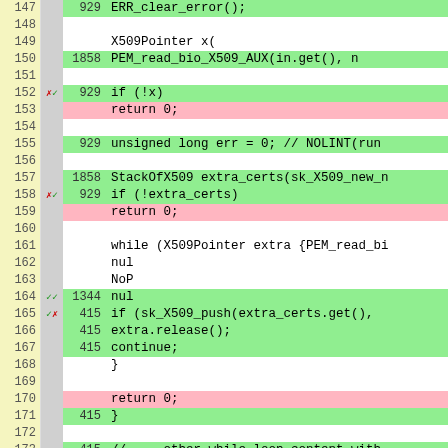[Figure (screenshot): Code coverage diff view showing lines 147-172 of a C++ source file. Columns: line number (yellow), markers (gray), hit count (green/pink/white), and code content (green for covered, pink for uncovered, white for not instrumented). Lines include ERR_clear_error(), X509Pointer, PEM_read_bio_X509_AUX, if/return blocks, unsigned long err, StackOfX509, while loop, sk_X509_push, extra.release(), continue, closing brace, return 0, and more.]